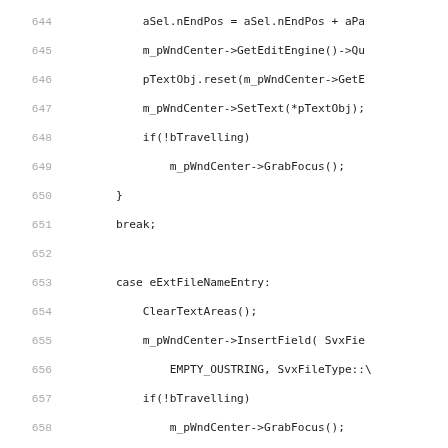[Figure (screenshot): Source code listing showing C++ code lines 644-673. Code includes switch-case statements for eExtFileNameEntry and ePageSheetEntry, with methods like GetEditEngine(), GrabFocus(), InsertField(), ClearTextAreas(), and ESelection.]